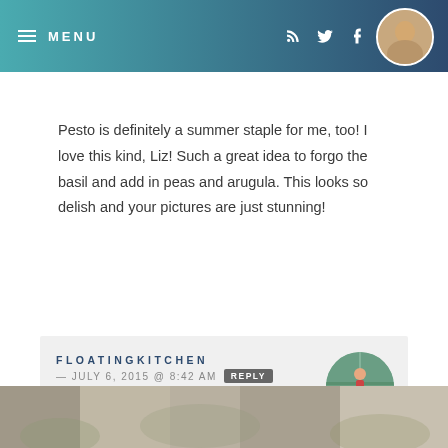MENU
Pesto is definitely a summer staple for me, too! I love this kind, Liz! Such a great idea to forgo the basil and add in peas and arugula. This looks so delish and your pictures are just stunning!
FLOATINGKITCHEN — JULY 6, 2015 @ 8:42 AM REPLY
Pesto is just SO GOSH DARN GOOD! Love it on everything. Thanks for the great compliment, Gayle!
[Figure (photo): Bottom strip showing a blurred food/garden image]
[Figure (photo): Circular avatar of a woman in a greenhouse/garden]
[Figure (photo): Circular avatar of blog author at top right]